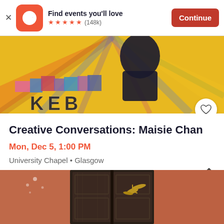[Figure (screenshot): Eventbrite app banner: orange logo with 'e', text 'Find events you'll love', 5 orange stars, (148k) reviews, orange Continue button]
[Figure (photo): Colorful mural artwork with yellow background and dark figures, partial text 'KEB' visible]
Creative Conversations: Maisie Chan
Mon, Dec 5, 1:00 PM
University Chapel • Glasgow
Free
[Figure (photo): Photo of an old dark wooden double door on a terracotta/salmon colored wall, with golden bird/hands decorative element]